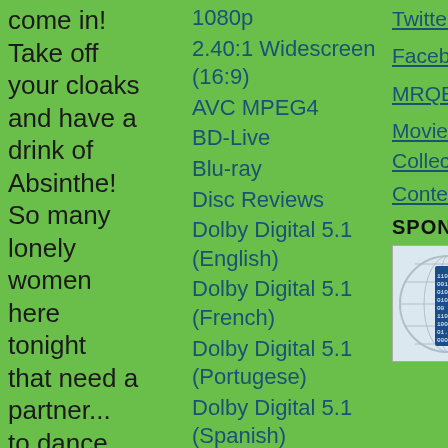come in! Take off your cloaks and have a drink of Absinthe! So many lonely women here tonight that need a partner... to dance with of course! Hope you
1080p
2.40:1 Widescreen (16:9)
AVC MPEG4
BD-Live
Blu-ray
Disc Reviews
Dolby Digital 5.1 (English)
Dolby Digital 5.1 (French)
Dolby Digital 5.1 (Portugese)
Dolby Digital 5.1 (Spanish)
DTS HD 5.1 (English)
Fox
Twitter
Facebook
MRQE
Movie Collectorz
Contestgirl
SPONSORS
[Figure (other): Sponsor logo: globe with binary code overlay]